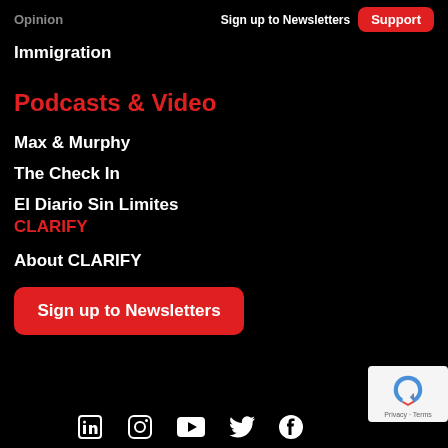Opinion  Sign up to Newsletters  Support
Immigration
Podcasts & Video
Max & Murphy
The Check In
El Diario Sin Limites
CLARIFY
About CLARIFY
Sign up to Newsletters
LinkedIn  Instagram  YouTube  Twitter  Facebook